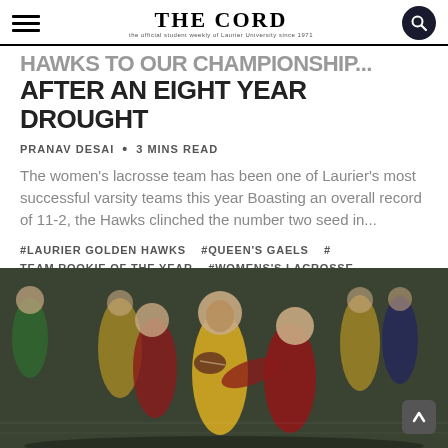THE CORD
HAWKS TO OUR CHAMPIONSHIP AFTER AN EIGHT YEAR DROUGHT
PRANAV DESAI  •  3 MINS READ
The women's lacrosse team has been one of Laurier's most successful varsity teams this year Boasting an overall record of 11-2, the Hawks clinched the number two seed in...
#LAURIER GOLDEN HAWKS   #QUEEN'S GAELS   # TEAM ROOKIE OF THE YEAR   #WOMENS'S LACROSSE
[Figure (photo): Rugby players in action, one player in yellow jersey holding the ball being tackled by players in red jerseys, with other players in the background.]